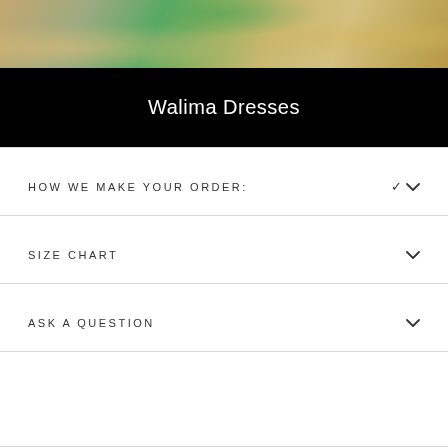[Figure (photo): Cropped photo of a model wearing traditional South Asian bridal attire with gold embroidery and teal/green outfit, with decorative background]
Walima Dresses
HOW WE MAKE YOUR ORDER:
SIZE CHART
ASK A QUESTION
You may also like